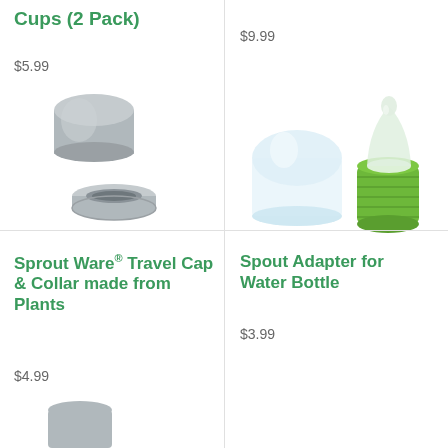Cups (2 Pack)
$5.99
$9.99
[Figure (photo): Gray travel cap and collar components shown disassembled — a rounded cap on top and a flat collar/ring below]
[Figure (photo): Spout adapter components for water bottle — a clear dome cap and a green ribbed bottle adapter with a silicone spout nipple]
Sprout Ware® Travel Cap & Collar made from Plants
$4.99
Spout Adapter for Water Bottle
$3.99